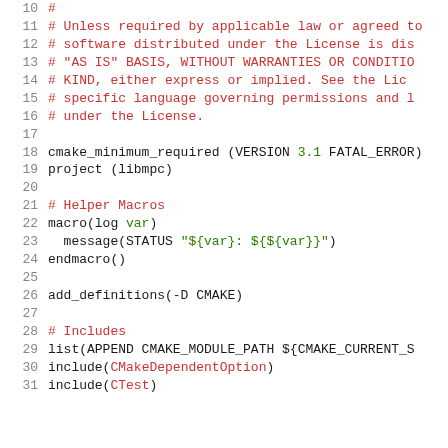Code listing: CMakeLists.txt lines 10-31
10  #
11  # Unless required by applicable law or agreed to
12  # software distributed under the License is dis
13  # "AS IS" BASIS, WITHOUT WARRANTIES OR CONDITION
14  # KIND, either express or implied.  See the Lic
15  # specific language governing permissions and l
16  # under the License.
17
18  cmake_minimum_required (VERSION 3.1 FATAL_ERROR)
19  project (libmpc)
20
21  # Helper Macros
22  macro(log var)
23    message(STATUS "${var}: ${${var}}")
24  endmacro()
25
26  add_definitions(-D CMAKE)
27
28  # Includes
29  list(APPEND CMAKE_MODULE_PATH ${CMAKE_CURRENT_S
30  include(CMakeDependentOption)
31  include(CTest)